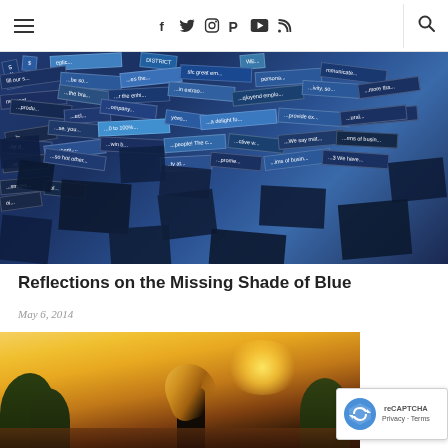Navigation bar with hamburger menu, social icons (f, twitter, instagram, pinterest, youtube, rss), and search icon
[Figure (photo): Collage of torn blue paper pieces with white text fragments scattered across, various shades of blue]
Reflections on the Missing Shade of Blue
May 6, 2014
[Figure (photo): Silhouette of a woman with long blonde hair sitting outdoors against a bright golden sunset with trees in background]